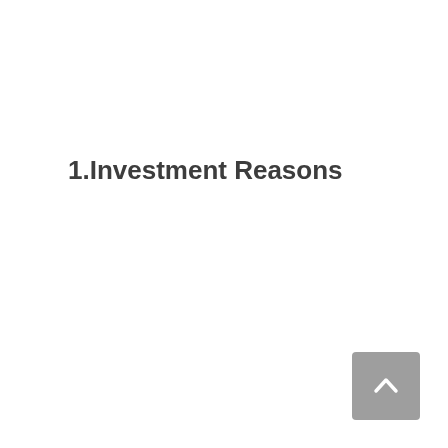1.Investment Reasons
[Figure (other): Navigation button with upward-pointing chevron arrow on a gray rounded square background, positioned in the bottom-right corner of the page.]